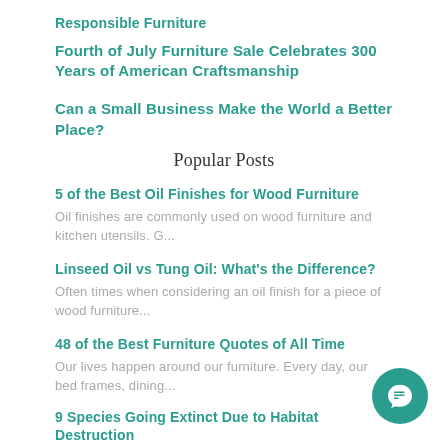Responsible Furniture
Fourth of July Furniture Sale Celebrates 300 Years of American Craftsmanship
Can a Small Business Make the World a Better Place?
Popular Posts
5 of the Best Oil Finishes for Wood Furniture
Oil finishes are commonly used on wood furniture and kitchen utensils. G...
Linseed Oil vs Tung Oil: What’s the Difference?
Often times when considering an oil finish for a piece of wood furniture...
48 of the Best Furniture Quotes of All Time
Our lives happen around our furniture. Every day, our bed frames, dining...
9 Species Going Extinct Due to Habitat Destruction Deforestation